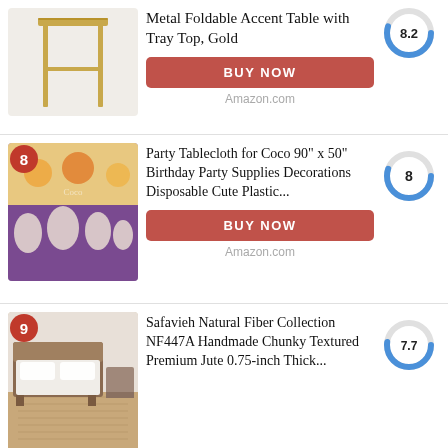[Figure (screenshot): Product listing section 1 (partial): Metal Foldable Accent Table with Tray Top, Gold, score 8.2]
[Figure (screenshot): Product listing section 2: Party Tablecloth for Coco 90" x 50" Birthday Party Supplies Decorations Disposable Cute Plastic..., score 8, badge 8]
[Figure (screenshot): Product listing section 3: Safavieh Natural Fiber Collection NF447A Handmade Chunky Textured Premium Jute 0.75-inch Thick..., score 7.7, badge 9]